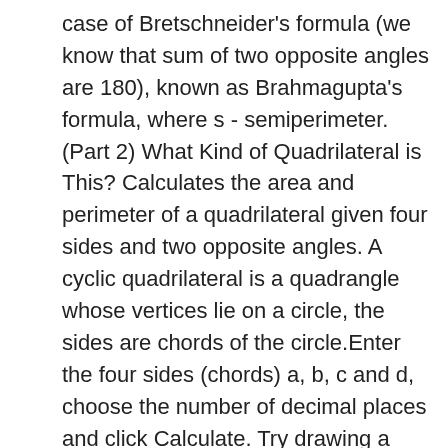case of Bretschneider's formula (we know that sum of two opposite angles are 180), known as Brahmagupta's formula, where s - semiperimeter. (Part 2) What Kind of Quadrilateral is This? Calculates the area and perimeter of a quadrilateral given four sides and two opposite angles. A cyclic quadrilateral is a quadrangle whose vertices lie on a circle, the sides are chords of the circle.Enter the four sides (chords) a, b, c and d, choose the number of decimal places and click Calculate. Try drawing a quadrilateral, and measure the angles. A rectangle is a quadrilateral having 4 straight sides and 4 angles of 90°. Rectangle. A quadrilateral by definition is a polygon that has four edges and vertices. Calculator Enter 2 values width (a) = height (b) = diagonal (d) = alpha (α) = °rad Read more… In the case of a rectangle, the length typically refers to the longer